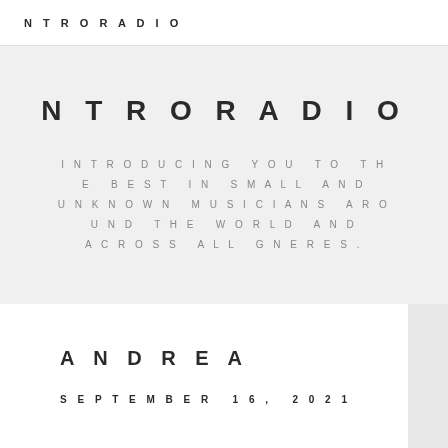NTRORADIO
NTRORADIO
INTRODUCING YOU TO THE BEST IN SMALL AND UNKNOWN MUSICIANS AROUND THE WORLD AND ACROSS ALL GNERES.
ANDREA
SEPTEMBER 16, 2021